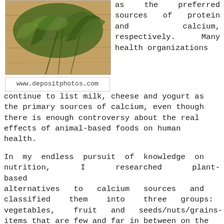[Figure (photo): Photo of green leafy herbs/seaweed on a wooden cutting board, with watermark www.depositphotos.com below]
www.depositphotos.com
as the preferred sources of protein and calcium, respectively. Many health organizations continue to list milk, cheese and yogurt as the primary sources of calcium, even though there is enough controversy about the real effects of animal-based foods on human health.
In my endless pursuit of knowledge on nutrition, I researched plant-based alternatives to calcium sources and classified them into three groups: vegetables, fruit and seeds/nuts/grains- items that are few and far in between on the International Osteoporosis Foundation's list of calcium-rich foods. In fact, the suggestion appears to be that fruit